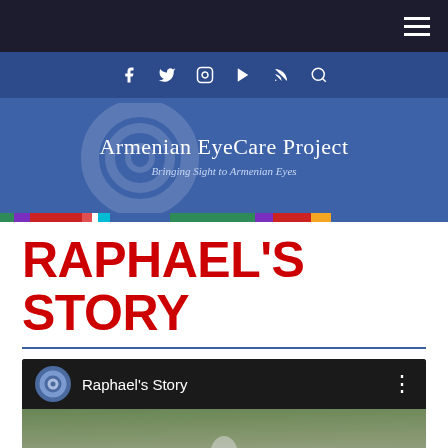Navigation bar with hamburger menu
[Figure (screenshot): Social media icons bar: Facebook, Twitter, Instagram, YouTube, RSS, Search on dark blue background]
[Figure (logo): Armenian EyeCare Project logo with swirl watermark. Text: Armenian EyeCare Project, Bringing Sight to Armenian Eyes]
RAPHAEL'S STORY
[Figure (screenshot): YouTube video embed showing 'Raphael's Story' with Armenian EyeCare Project logo icon, three-dot menu, and a blurred outdoor thumbnail scene]